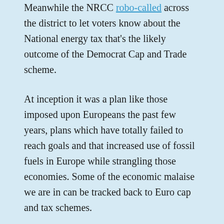Meanwhile the NRCC robo-called across the district to let voters know about the National energy tax that's the likely outcome of the Democrat Cap and Trade scheme.
At inception it was a plan like those imposed upon Europeans the past few years, plans which have totally failed to reach goals and that increased use of fossil fuels in Europe while strangling those economies. Some of the economic malaise we are in can be tracked back to Euro cap and tax schemes.
That's how it started off, a plan like the Europeans... but since then it's turned into a patronage scam of perks and pork as Rep. Henry Waxman trades credits to states whose